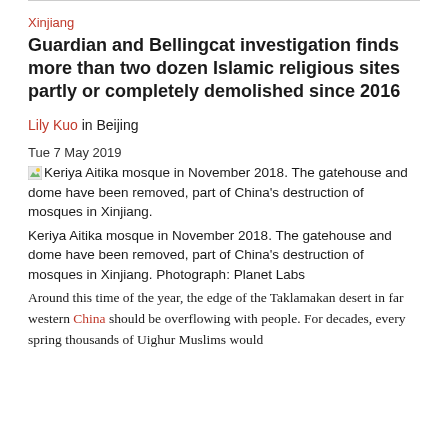Xinjiang
Guardian and Bellingcat investigation finds more than two dozen Islamic religious sites partly or completely demolished since 2016
Lily Kuo in Beijing
Tue 7 May 2019
Keriya Aitika mosque in November 2018. The gatehouse and dome have been removed, part of China's destruction of mosques in Xinjiang.
Keriya Aitika mosque in November 2018. The gatehouse and dome have been removed, part of China's destruction of mosques in Xinjiang. Photograph: Planet Labs
Around this time of the year, the edge of the Taklamakan desert in far western China should be overflowing with people. For decades, every spring thousands of Uighur Muslims would